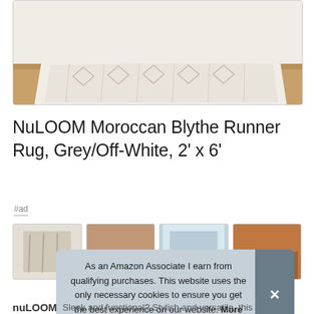[Figure (photo): Product photo of a NuLOOM Moroccan Blythe Runner Rug in Grey/Off-White laid on a hardwood floor, with a woven basket visible in the top right corner.]
NuLOOM Moroccan Blythe Runner Rug, Grey/Off-White, 2' x 6'
#ad
[Figure (photo): Row of four product thumbnail images showing various rugs.]
As an Amazon Associate I earn from qualifying purchases. This website uses the only necessary cookies to ensure you get the best experience on our website. More information
nuLOOM   Sleek and functional? Stylish and versatile, this